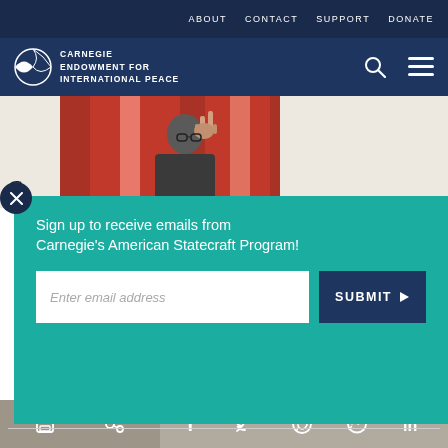ABOUT  CONTACT  SUPPORT  DONATE
[Figure (logo): Carnegie Endowment for International Peace logo — circular half-filled globe icon with white text]
[Figure (photo): Photograph of a man in a dark suit making a peace sign gesture, with red draped background]
[Figure (infographic): Teal email signup overlay panel with close button (X), headline 'Sign up to receive emails from Carnegie's American Statecraft Program!', email input field, and SUBMIT button]
Sign up to receive emails from Carnegie's American Statecraft Program!
Print | Link | Facebook | Twitter | WhatsApp | Messenger | LinkedIn